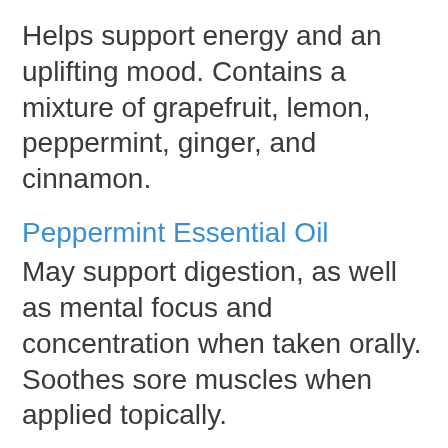Helps support energy and an uplifting mood. Contains a mixture of grapefruit, lemon, peppermint, ginger, and cinnamon.
Peppermint Essential Oil
May support digestion, as well as mental focus and concentration when taken orally. Soothes sore muscles when applied topically.
Importance of a Pre-Workout Routine
Now it's time to warm up for your workout. If you find your muscles sore from the previous day's exercise regimen try using several drops of Peppermint essential oil. Peppermint helps support and soothe minor soreness or